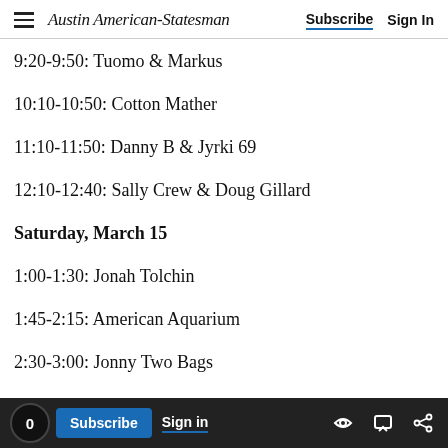Austin American-Statesman | Subscribe  Sign In
9:20-9:50: Tuomo & Markus
10:10-10:50: Cotton Mather
11:10-11:50: Danny B & Jyrki 69
12:10-12:40: Sally Crew & Doug Gillard
Saturday, March 15
1:00-1:30: Jonah Tolchin
1:45-2:15: American Aquarium
2:30-3:00: Jonny Two Bags
0  Subscribe  Sign in